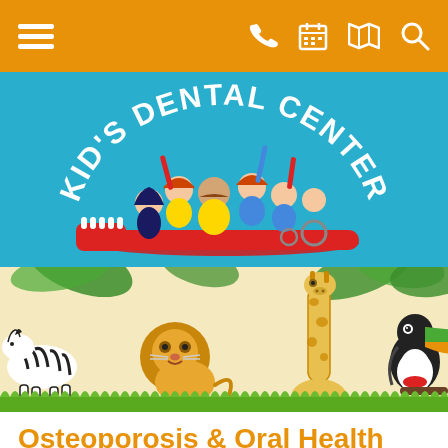[Figure (screenshot): Orange navigation bar with hamburger menu icon on left and phone, calendar, map, search icons on right]
[Figure (logo): Kid's Dental Center logo: colorful cartoon children and dentist sitting on a large red toothbrush, on teal/blue background with white arched text 'KID'S DENTAL CENTER']
[Figure (illustration): Jungle-themed banner with cartoon animals: zebra on left, lion in center-left, giraffe center-right, toucan on right, with palm leaves and green grass, on light yellow background]
Osteoporosis & Oral Health
Search
Osteoporosis is a condition that weakens bones and makes them more prone to fracture. Estimated to affect about 10 million